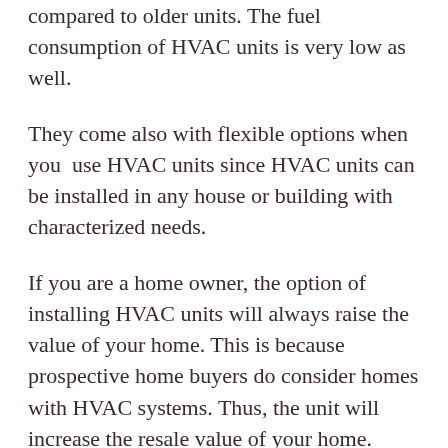compared to older units. The fuel consumption of HVAC units is very low as well.
They come also with flexible options when you use HVAC units since HVAC units can be installed in any house or building with characterized needs.
If you are a home owner, the option of installing HVAC units will always raise the value of your home. This is because prospective home buyers do consider homes with HVAC systems. Thus, the unit will increase the resale value of your home.
It’s certainly wise to replace your HVAC unit if its 20 year old with high HVAC units. Contact Us for consultation on the best option for...